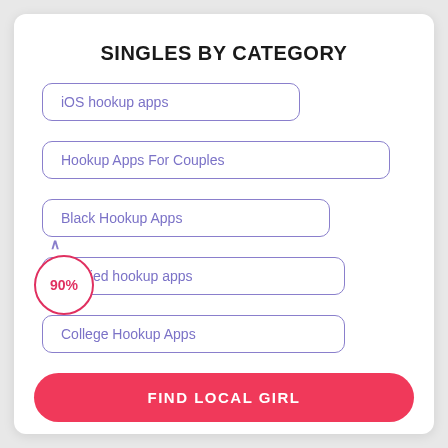SINGLES BY CATEGORY
iOS hookup apps
Hookup Apps For Couples
Black Hookup Apps
Married hookup apps
College Hookup Apps
90%
FIND LOCAL GIRL